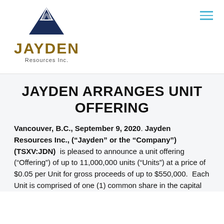[Figure (logo): Jayden Resources Inc. logo with mountain graphic and company name]
JAYDEN ARRANGES UNIT OFFERING
Vancouver, B.C., September 9, 2020. Jayden Resources Inc., (“Jayden” or the “Company”) (TSXV:JDN) is pleased to announce a unit offering (“Offering”) of up to 11,000,000 units (“Units”) at a price of $0.05 per Unit for gross proceeds of up to $550,000. Each Unit is comprised of one (1) common share in the capital